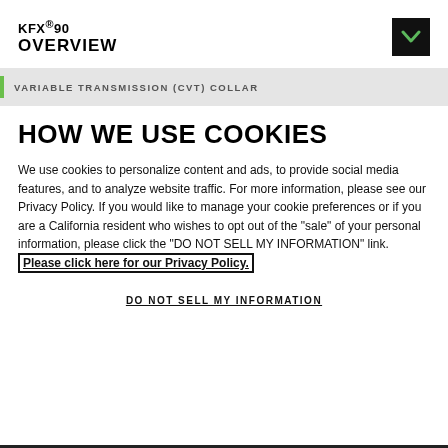KFX®90 OVERVIEW
VARIABLE TRANSMISSION (CVT) COLLAR
HOW WE USE COOKIES
We use cookies to personalize content and ads, to provide social media features, and to analyze website traffic. For more information, please see our Privacy Policy. If you would like to manage your cookie preferences or if you are a California resident who wishes to opt out of the "sale" of your personal information, please click the "DO NOT SELL MY INFORMATION" link. Please click here for our Privacy Policy.
DO NOT SELL MY INFORMATION